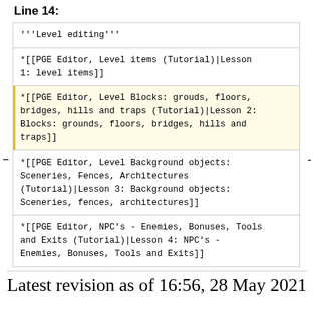Line 14:
'''Level editing'''
*[[PGE Editor, Level items (Tutorial)|Lesson 1: level items]]
*[[PGE Editor, Level Blocks: grouds, floors, bridges, hills and traps (Tutorial)|Lesson 2: Blocks: grounds, floors, bridges, hills and traps]]
*[[PGE Editor, Level Background objects: Sceneries, Fences, Architectures (Tutorial)|Lesson 3: Background objects: Sceneries, fences, architectures]]
*[[PGE Editor, NPC's - Enemies, Bonuses, Tools and Exits (Tutorial)|Lesson 4: NPC's - Enemies, Bonuses, Tools and Exits]]
Latest revision as of 16:56, 28 May 2021